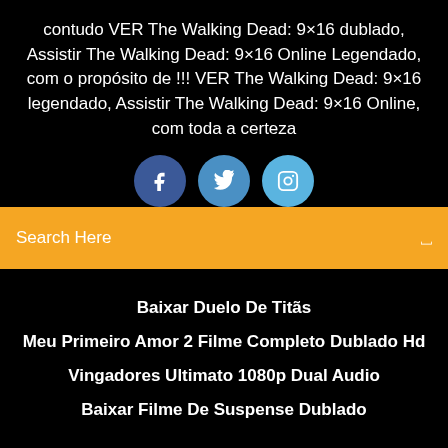contudo VER The Walking Dead: 9×16 dublado, Assistir The Walking Dead: 9×16 Online Legendado, com o propósito de !!! VER The Walking Dead: 9×16 legendado, Assistir The Walking Dead: 9×16 Online, com toda a certeza
[Figure (illustration): Three social media icon circles: Facebook (dark blue), Twitter (medium blue), Instagram (light blue)]
Search Here
Baixar Duelo De Titãs
Meu Primeiro Amor 2 Filme Completo Dublado Hd
Vingadores Ultimato 1080p Dual Audio
Baixar Filme De Suspense Dublado
Copyright ©2022 All rights reserved